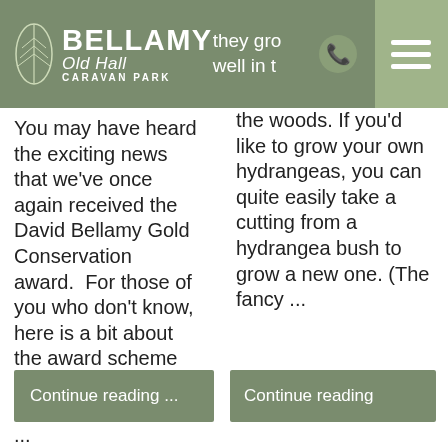Bellamy Old Hall Caravan Park
You may have heard the exciting news that we've once again received the David Bellamy Gold Conservation award.  For those of you who don't know, here is a bit about the award scheme from the website: "The variety of work ...
Continue reading ...
they grow well in the woods. If you'd like to grow your own hydrangeas, you can quite easily take a cutting from a hydrangea bush to grow a new one. (The fancy ...
Continue reading